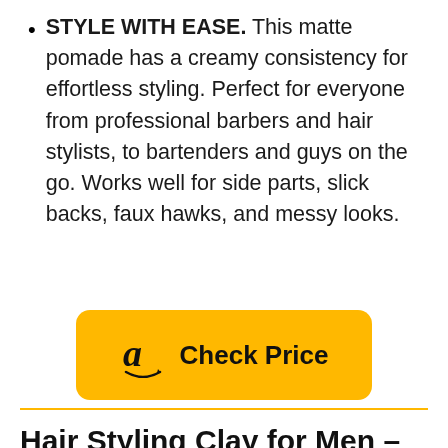STYLE WITH EASE. This matte pomade has a creamy consistency for effortless styling. Perfect for everyone from professional barbers and hair stylists, to bartenders and guys on the go. Works well for side parts, slick backs, faux hawks, and messy looks.
[Figure (other): Amazon yellow button with Amazon logo and text 'Check Price']
Hair Styling Clay for Men – Matte Strong Hold Molding Pomade for Beard and Hair – Natural